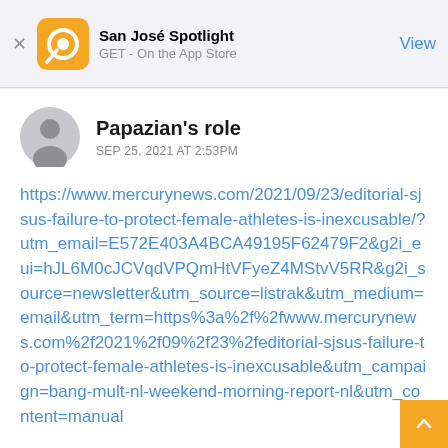[Figure (screenshot): App Store banner for San José Spotlight showing orange logo, app name, 'GET - On the App Store' text, and a 'View' button]
Papazian's role
SEP 25, 2021 AT 2:53PM
https://www.mercurynews.com/2021/09/23/editorial-sjsus-failure-to-protect-female-athletes-is-inexcusable/?utm_email=E572E403A4BCA49195F62479F2&g2i_eui=hJL6M0cJCVqdVPQmHtVFyeZ4MStvV5RR&g2i_source=newsletter&utm_source=listrak&utm_medium=email&utm_term=https%3a%2f%2fwww.mercurynews.com%2f2021%2f09%2f23%2feditorial-sjsus-failure-to-protect-female-athletes-is-inexcusable&utm_campaign=bang-mult-nl-weekend-morning-report-nl&utm_content=manual